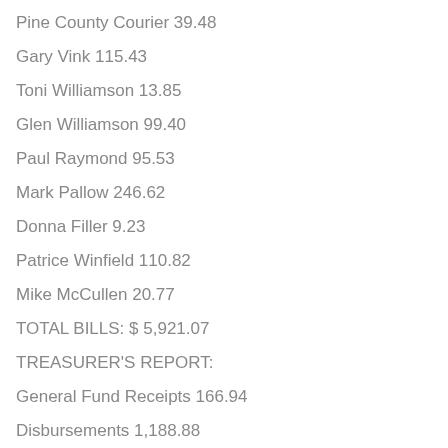Pine County Courier 39.48
Gary Vink 115.43
Toni Williamson 13.85
Glen Williamson 99.40
Paul Raymond 95.53
Mark Pallow 246.62
Donna Filler 9.23
Patrice Winfield 110.82
Mike McCullen 20.77
TOTAL BILLS: $ 5,921.07
TREASURER'S REPORT:
General Fund Receipts 166.94
Disbursements 1,188.88